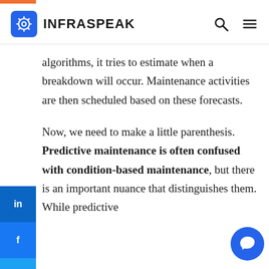INFRASPEAK
algorithms, it tries to estimate when a breakdown will occur. Maintenance activities are then scheduled based on these forecasts.
Now, we need to make a little parenthesis. Predictive maintenance is often confused with condition-based maintenance, but there is an important nuance that distinguishes them. While predictive